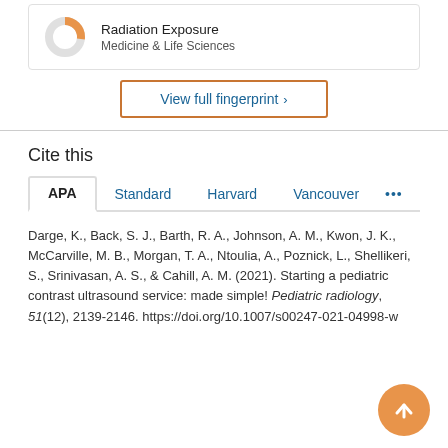[Figure (donut-chart): Donut chart showing partial fill for Radiation Exposure topic in Medicine & Life Sciences]
Radiation Exposure
Medicine & Life Sciences
View full fingerprint ›
Cite this
APA | Standard | Harvard | Vancouver | ...
Darge, K., Back, S. J., Barth, R. A., Johnson, A. M., Kwon, J. K., McCarville, M. B., Morgan, T. A., Ntoulia, A., Poznick, L., Shellikeri, S., Srinivasan, A. S., & Cahill, A. M. (2021). Starting a pediatric contrast ultrasound service: made simple! Pediatric radiology, 51(12), 2139-2146. https://doi.org/10.1007/s00247-021-04998-w